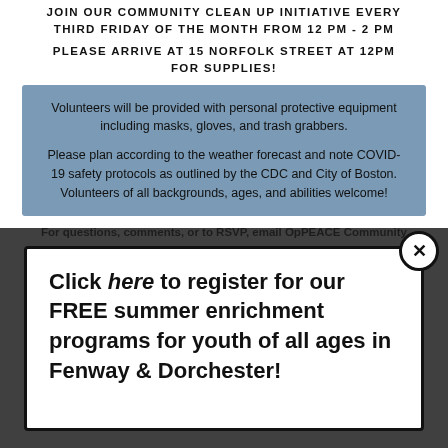JOIN OUR COMMUNITY CLEAN UP INITIATIVE EVERY THIRD FRIDAY OF THE MONTH FROM 12 PM - 2 PM
PLEASE ARRIVE AT 15 NORFOLK STREET AT 12PM FOR SUPPLIES!
Volunteers will be provided with personal protective equipment including masks, gloves, and trash grabbers.

Please plan according to the weather forecast and note COVID-19 safety protocols as outlined by the CDC and City of Boston. Volunteers of all backgrounds, ages, and abilities welcome!
For questions, comments, or to RSVP,  email OpPEACE Community Coordinator, Steph Enderson, at stephanie@operationpeaceboston.org
Click here to register for our FREE summer enrichment programs for youth of all ages in Fenway & Dorchester!